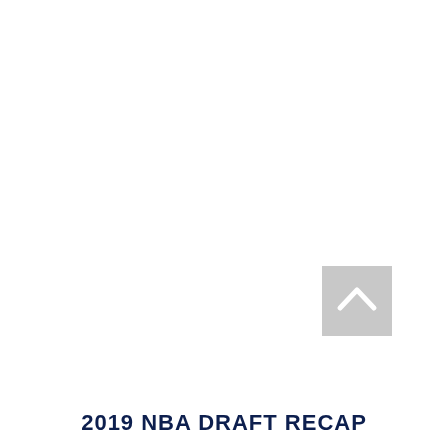[Figure (other): Gray square button with white upward-pointing chevron/arrow icon, positioned in the lower right area of the page]
2019 NBA DRAFT RECAP